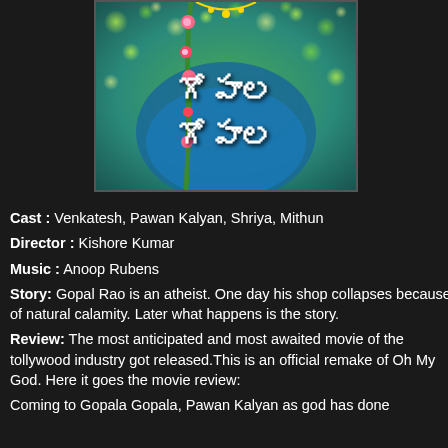[Figure (photo): Movie poster for Gopala Gopala (Telugu film) showing the film title in Telugu script with a decorative floral and peacock feather design against a blue/teal background with bokeh yellow-green lights]
Cast : Venkatesh, Pawan Kalyan, Shriya, Mithun
Director : Kishore Kumar
Music : Anoop Rubens
Story: Gopal Rao is an atheist. One day his shop collapses because of natural calamity. Later what happens is the story.
Review: The most anticipated and most awaited movie of the tollywood industry got released.This is an official remake of Oh My God. Here it goes the movie review:
Coming to Gopala Gopala, Pawan Kalyan as god has done